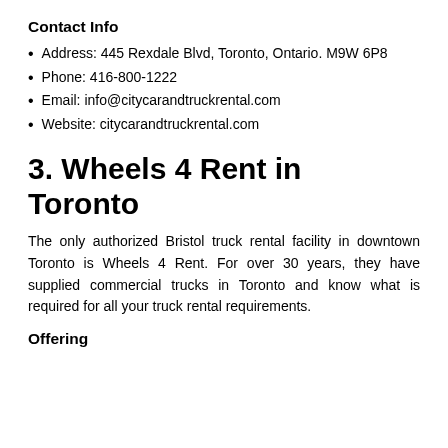Contact Info
Address: 445 Rexdale Blvd, Toronto, Ontario. M9W 6P8
Phone: 416-800-1222
Email: info@citycarandtruckrental.com
Website: citycarandtruckrental.com
3. Wheels 4 Rent in Toronto
The only authorized Bristol truck rental facility in downtown Toronto is Wheels 4 Rent. For over 30 years, they have supplied commercial trucks in Toronto and know what is required for all your truck rental requirements.
Offering